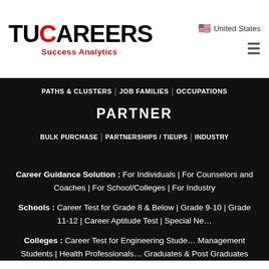🇺🇸 United States
[Figure (logo): TUCAREERS Success Analytics logo — TU in black, C as red circle, AREERS in black, subtitle 'Success Analytics' in red]
PATHS & CLUSTERS | JOB FAMILIES | OCCUPATIONS
PARTNER
BULK PURCHASE | PARTNERSHIPS / TIEUPS | INDUSTRY
Career Guidance Solution : For Individuals | For Counselors and Coaches | For School/Colleges | For Industry
Schools : Career Test for Grade 8 & Below | Grade 9-10 | Grade 11-12 | Career Aptitude Test | Special Ne...
Colleges : Career Test for Engineering Stude... Management Students | Health Professionals... Graduates & Post Graduates